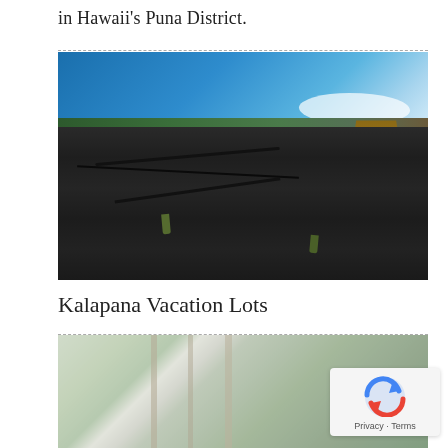in Hawaii's Puna District.
[Figure (photo): Photograph of black hardened lava field in Hawaii's Puna District, with blue sky and sparse vegetation]
Kalapana Vacation Lots
[Figure (photo): Photograph of a misty forest with tree trunks and green vegetation, partially obscured by fog]